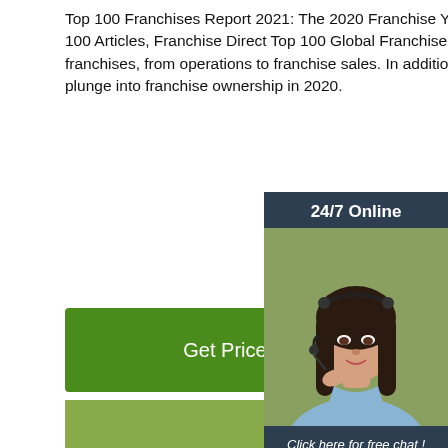Top 100 Franchises Report 2021: The 2020 Franchise Year in Review . by Renee Bailey Franchise Top 100 Articles, Franchise Direct Top 100 Global Franchises. This is how the novel coronavirus impacted franchises, from operations to franchise sales. In addition, we tell the story of a took the plunge into franchise ownership in 2020.
[Figure (infographic): Green 'Get Price' button]
[Figure (infographic): 24/7 Online chat widget with female customer service agent photo, 'Click here for free chat!' text, and orange QUOTATION button]
[Figure (photo): Close-up photo of two glass salt and pepper shakers with metal lids on a wooden surface with green grass background, with orange TOP watermark]